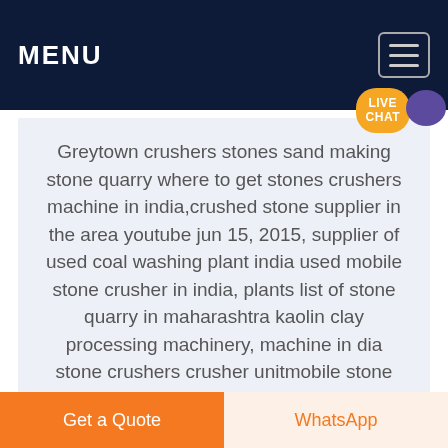MENU
Greytown crushers stones sand making stone quarry where to get stones crushers machine in india,crushed stone supplier in the area youtube jun 15, 2015, supplier of used coal washing plant india used mobile stone crusher in india, plants list of stone quarry in maharashtra kaolin clay processing machinery, machine in dia stone crushers crusher unitmobile stone crushers for sale.
[Figure (photo): Partial image of industrial machinery or stone crusher equipment, shown as a gray strip at the bottom of the content area]
Get a Quote
WhatsApp